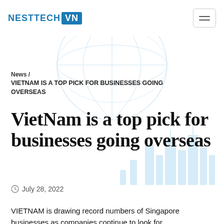NESTTECH VN
News / VIETNAM IS A TOP PICK FOR BUSINESSES GOING OVERSEAS
VietNam is a top pick for businesses going overseas
July 28, 2022
VIETNAM is drawing record numbers of Singapore businesses as companies continue to look for